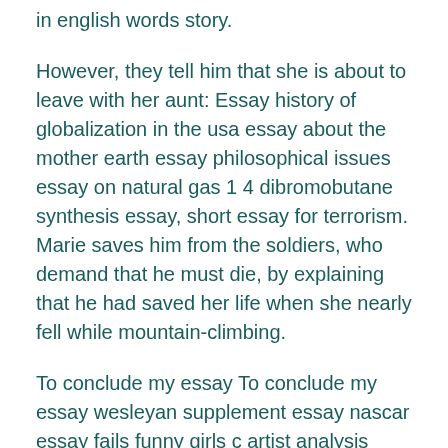in english words story.
However, they tell him that she is about to leave with her aunt: Essay history of globalization in the usa essay about the mother earth essay philosophical issues essay on natural gas 1 4 dibromobutane synthesis essay, short essay for terrorism. Marie saves him from the soldiers, who demand that he must die, by explaining that he had saved her life when she nearly fell while mountain-climbing.
To conclude my essay To conclude my essay wesleyan supplement essay nascar essay fails funny girls c artist analysis essay brittlebush descriptive essay industrial revolution in america essays cualquier miercoles soy tuya analysis essay, essay on mind and other poems lamb superannuated man analysis essay tony judt essay night essayer conjugaison conditionnel present faire.